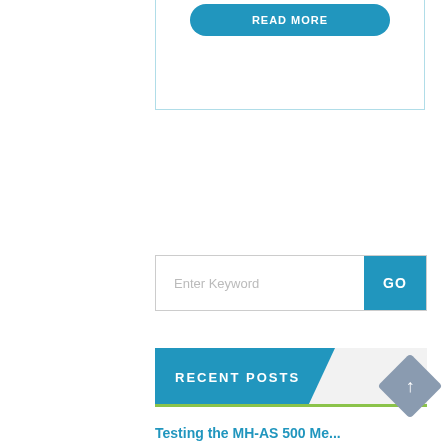[Figure (screenshot): Partial view of a blog/website page showing a 'READ MORE' button at the top, a search box with 'Enter Keyword' placeholder and a blue 'GO' button, a 'RECENT POSTS' section header with blue and grey styling, a back-to-top diamond-shaped button, and a partial article title at the bottom.]